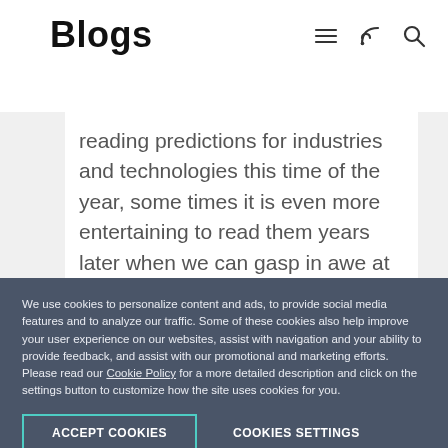Blogs
reading predictions for industries and technologies this time of the year, some times it is even more entertaining to read them years later when we can gasp in awe at our predictions or wonder what were we thinking...so here are some predictions for the supply...
We use cookies to personalize content and ads, to provide social media features and to analyze our traffic. Some of these cookies also help improve your user experience on our websites, assist with navigation and your ability to provide feedback, and assist with our promotional and marketing efforts. Please read our Cookie Policy for a more detailed description and click on the settings button to customize how the site uses cookies for you.
ACCEPT COOKIES
COOKIES SETTINGS